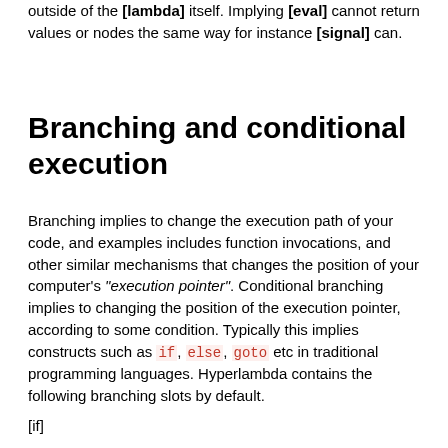outside of the [lambda] itself. Implying [eval] cannot return values or nodes the same way for instance [signal] can.
Branching and conditional execution
Branching implies to change the execution path of your code, and examples includes function invocations, and other similar mechanisms that changes the position of your computer's "execution pointer". Conditional branching implies to changing the position of the execution pointer, according to some condition. Typically this implies constructs such as if, else, goto etc in traditional programming languages. Hyperlambda contains the following branching slots by default.
[if]